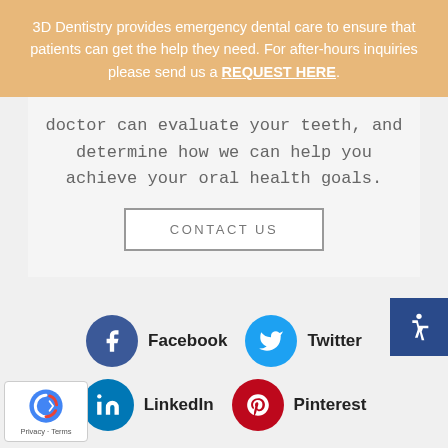3D Dentistry provides emergency dental care to ensure that patients can get the help they need. For after-hours inquiries please send us a REQUEST HERE.
doctor can evaluate your teeth, and determine how we can help you achieve your oral health goals.
CONTACT US
[Figure (infographic): Social media icons: Facebook (dark blue circle with f), Twitter (light blue circle with bird), LinkedIn (blue circle with in), Pinterest (red circle with p)]
[Figure (logo): reCAPTCHA badge with Privacy and Terms text]
[Figure (infographic): Accessibility wheelchair icon button in dark blue]